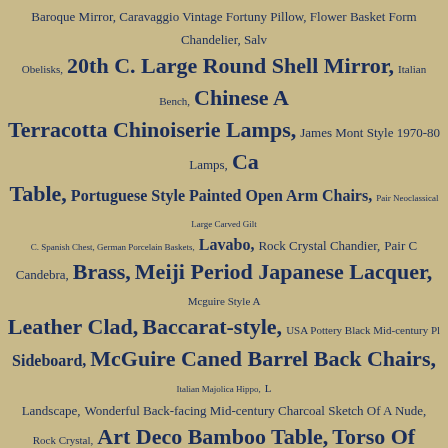Baroque Mirror, Caravaggio Vintage Fortuny Pillow, Flower Basket Form Chandelier, Salv Obelisks, 20th C. Large Round Shell Mirror, Italian Bench, Chinese A Terracotta Chinoiserie Lamps, James Mont Style 1970-80 Lamps, Ca Table, Portuguese Style Painted Open Arm Chairs, Pair Neoclassical Large Carved Gilt C. Spanish Chest, German Porcelain Baskets, Lavabo, Rock Crystal Chandier, Pair C Candebra, Brass, Meiji Period Japanese Lacquer, Mcguire Style A Leather Clad, Baccarat-style, USA Pottery Black Mid-century P Sideboard, McGuire Caned Barrel Back Chairs, Italian Majolica Hippo, L Landscape, Wonderful Back-facing Mid-century Charcoal Sketch Of A Nude, Rock Crystal, Art Deco Bamboo Table, Torso Of Nude Venus, E 1820, Mad Men Planters, Scalamandre Le Tigre Silk Velvet Fortuny Pillow, Mad Men, Tommi Parzinger Chandelier, For Chairs/bergeres, ANTIQUE FRENCH LOG BIN, Mid-20th Mahogany Box, Mid-centery Teak Ice Bucket, Chinoiserie Stands, Me Fragment, Japanned Egyptian Revival Aesthetic Movement Lady's Chair, A Early Christopher Spitzmiller Lamps, Aluminum Luggage LIBRARY STEPS, Wing Chair, Bronze Sculpture Of Seated Balle Napoleon III Chairs, CHINESE MONOCHROME BLUE P Early Meiji Pricket Sticks, Neoclassical Marble Pedestal, C Fooled Box, Moderne Brutalist Brass Sconces, Etchings, Victor Vasa Crystal., Giovanni Battista Piranesi Engravings, French Mid-century Opa Bassalert Water Color, Harvey Prober, Sconce, Copper Kettle, Hr